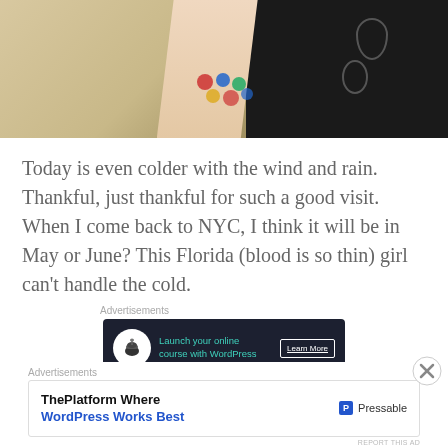[Figure (photo): Close-up photo of a person's arm in a khaki/tan coat sleeve against a dark black bag with oval buttons]
Today is even colder with the wind and rain. Thankful, just thankful for such a good visit. When I come back to NYC, I think it will be in May or June? This Florida (blood is so thin) girl can't handle the cold.
[Figure (screenshot): Advertisement banner: dark background with bonsai tree icon, teal text 'Launch your online course with WordPress', white 'Learn More' button]
Tomorrow we travel home so I will post something early
[Figure (screenshot): Advertisement banner: white background, 'ThePlatform Where WordPress Works Best' with Pressable logo]